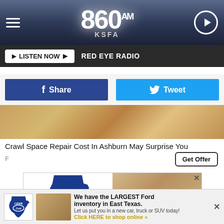860 AM KSFA
LISTEN NOW ▶  RED EYE RADIO
f Share   Tweet
[Figure (photo): Crawl space interior photo]
Crawl Space Repair Cost In Ashburn May Surprise You
F
Get Offer
[Figure (logo): Lufkin Ford advertisement with Texas shape logo]
[Figure (infographic): Lufkin Ford bottom ad bar: We have the LARGEST Ford inventory in East Texas. Let us put you in a new car, truck or SUV today! Click HERE to shop online »]